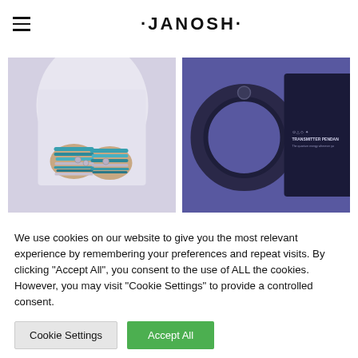·JANOSH·
[Figure (photo): Person sitting cross-legged wearing multiple turquoise and silver bracelets and rings on both wrists, hands clasped, wearing a white linen top]
[Figure (photo): Dark circular pendant/ring jewelry piece displayed next to dark packaging box labeled TRANSMITTER PENDANT with quantum energy branding, against purple background]
We use cookies on our website to give you the most relevant experience by remembering your preferences and repeat visits. By clicking "Accept All", you consent to the use of ALL the cookies. However, you may visit "Cookie Settings" to provide a controlled consent.
Cookie Settings
Accept All